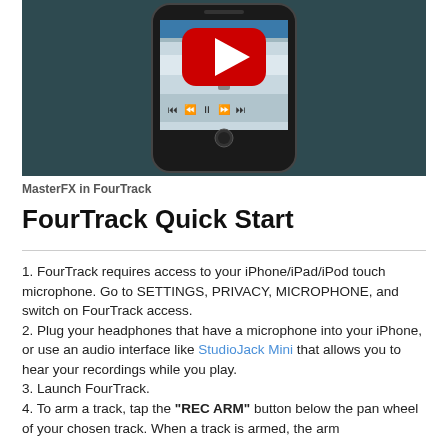[Figure (screenshot): Screenshot of a smartphone (iPhone) displaying the FourTrack app interface with transport controls, with a YouTube play button overlay in the center, set against a dark teal/grey background.]
MasterFX in FourTrack
FourTrack Quick Start
1. FourTrack requires access to your iPhone/iPad/iPod touch microphone. Go to SETTINGS, PRIVACY, MICROPHONE, and switch on FourTrack access.
2. Plug your headphones that have a microphone into your iPhone, or use an audio interface like StudioJack Mini that allows you to hear your recordings while you play.
3. Launch FourTrack.
4. To arm a track, tap the "REC ARM" button below the pan wheel of your chosen track. When a track is armed, the arm